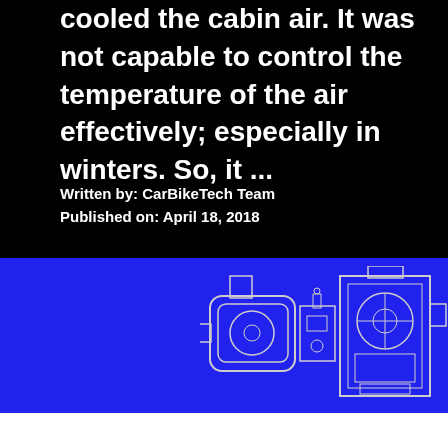cooled the cabin air. It was not capable to control the temperature of the air effectively; especially in winters. So, it ...
Written by: CarBikeTech Team
Published on: April 18, 2018
[Figure (engineering-diagram): Technical line drawing of an automotive HVAC or engine component assembly on a blue background, showing multiple mechanical units with rectangular housings and circular elements.]